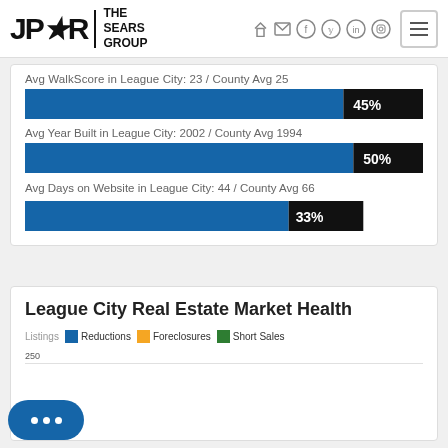JPAR Real Estate – The Sears Group
Avg WalkScore in League City: 23 / County Avg 25
[Figure (bar-chart): Avg WalkScore in League City: 23 / County Avg 25]
Avg Year Built in League City: 2002 / County Avg 1994
[Figure (bar-chart): Avg Year Built in League City: 2002 / County Avg 1994]
Avg Days on Website in League City: 44 / County Avg 66
[Figure (bar-chart): Avg Days on Website in League City: 44 / County Avg 66]
League City Real Estate Market Health
Listings  Reductions  Foreclosures  Short Sales